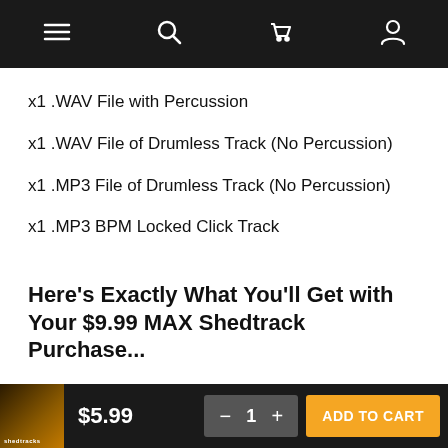Navigation bar with menu, search, cart, and account icons
x1 .WAV File with Percussion
x1 .WAV File of Drumless Track (No Percussion)
x1 .MP3 File of Drumless Track (No Percussion)
x1 .MP3 BPM Locked Click Track
Here's Exactly What You'll Get with Your $9.99 MAX Shedtrack Purchase...
$5.99  − 1 +  ADD TO CART